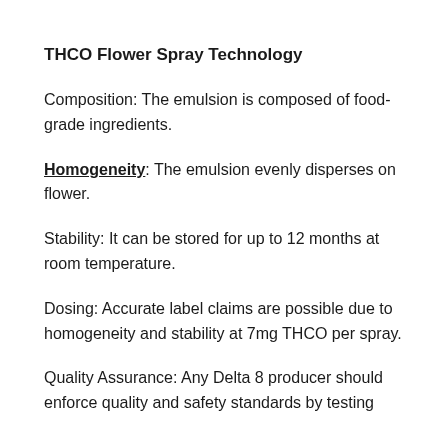THCO Flower Spray Technology
Composition: The emulsion is composed of food-grade ingredients.
Homogeneity: The emulsion evenly disperses on flower.
Stability: It can be stored for up to 12 months at room temperature.
Dosing: Accurate label claims are possible due to homogeneity and stability at 7mg THCO per spray.
Quality Assurance: Any Delta 8 producer should enforce quality and safety standards by testing